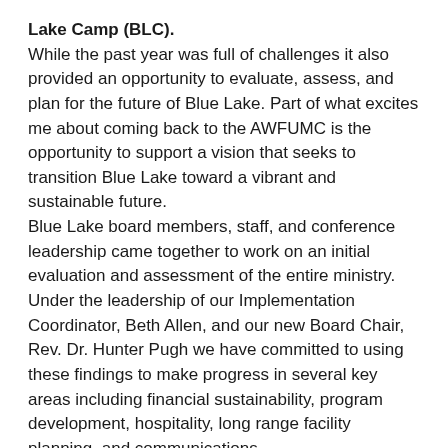Lake Camp (BLC). While the past year was full of challenges it also provided an opportunity to evaluate, assess, and plan for the future of Blue Lake. Part of what excites me about coming back to the AWFUMC is the opportunity to support a vision that seeks to transition Blue Lake toward a vibrant and sustainable future. Blue Lake board members, staff, and conference leadership came together to work on an initial evaluation and assessment of the entire ministry. Under the leadership of our Implementation Coordinator, Beth Allen, and our new Board Chair, Rev. Dr. Hunter Pugh we have committed to using these findings to make progress in several key areas including financial sustainability, program development, hospitality, long range facility planning, and communications.
Jessie Spangler, our Program Director, has incredible vision for the future of programs at Blue Lake and her leadership throughout the pandemic has been exemplary. She stepped up and took on so many challenges that were well beyond